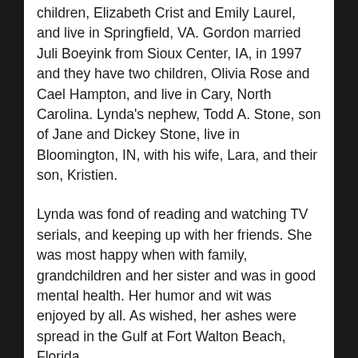children, Elizabeth Crist and Emily Laurel, and live in Springfield, VA. Gordon married Juli Boeyink from Sioux Center, IA, in 1997 and they have two children, Olivia Rose and Cael Hampton, and live in Cary, North Carolina. Lynda's nephew, Todd A. Stone, son of Jane and Dickey Stone, live in Bloomington, IN, with his wife, Lara, and their son, Kristien.
Lynda was fond of reading and watching TV serials, and keeping up with her friends. She was most happy when with family, grandchildren and her sister and was in good mental health. Her humor and wit was enjoyed by all. As wished, her ashes were spread in the Gulf at Fort Walton Beach, Florida.